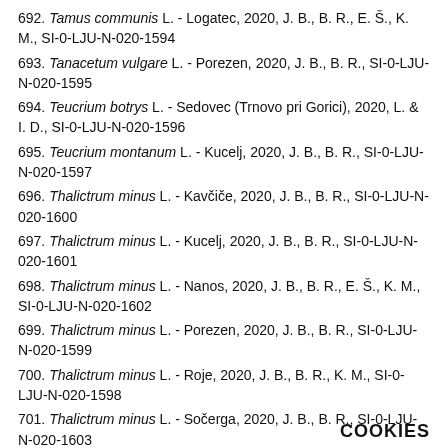692. Tamus communis L. - Logatec, 2020, J. B., B. R., E. Š., K. M., SI-0-LJU-N-020-1594
693. Tanacetum vulgare L. - Porezen, 2020, J. B., B. R., SI-0-LJU-N-020-1595
694. Teucrium botrys L. - Sedovec (Trnovo pri Gorici), 2020, L. & I. D., SI-0-LJU-N-020-1596
695. Teucrium montanum L. - Kucelj, 2020, J. B., B. R., SI-0-LJU-N-020-1597
696. Thalictrum minus L. - Kavčiče, 2020, J. B., B. R., SI-0-LJU-N-020-1600
697. Thalictrum minus L. - Kucelj, 2020, J. B., B. R., SI-0-LJU-N-020-1601
698. Thalictrum minus L. - Nanos, 2020, J. B., B. R., E. Š., K. M., SI-0-LJU-N-020-1602
699. Thalictrum minus L. - Porezen, 2020, J. B., B. R., SI-0-LJU-N-020-1599
700. Thalictrum minus L. - Roje, 2020, J. B., B. R., K. M., SI-0-LJU-N-020-1598
701. Thalictrum minus L. - Sočerga, 2020, J. B., B. R., SI-0-LJU-N-020-1603
COOKIES